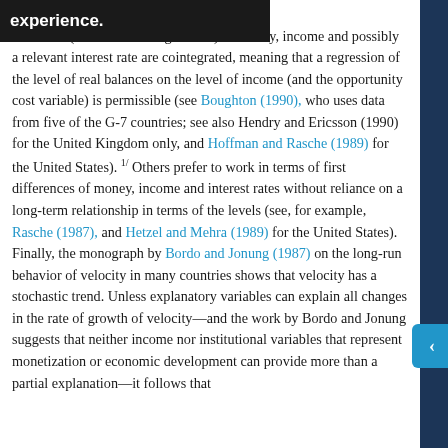Some experience. the levels (or the natural logarithms) of money, income and possibly a relevant interest rate are cointegrated, meaning that a regression of the level of real balances on the level of income (and the opportunity cost variable) is permissible (see Boughton (1990), who uses data from five of the G-7 countries; see also Hendry and Ericsson (1990) for the United Kingdom only, and Hoffman and Rasche (1989) for the United States). 1/ Others prefer to work in terms of first differences of money, income and interest rates without reliance on a long-term relationship in terms of the levels (see, for example, Rasche (1987), and Hetzel and Mehra (1989) for the United States). Finally, the monograph by Bordo and Jonung (1987) on the long-run behavior of velocity in many countries shows that velocity has a stochastic trend. Unless explanatory variables can explain all changes in the rate of growth of velocity—and the work by Bordo and Jonung suggests that neither income nor institutional variables that represent monetization or economic development can provide more than a partial explanation—it follows that